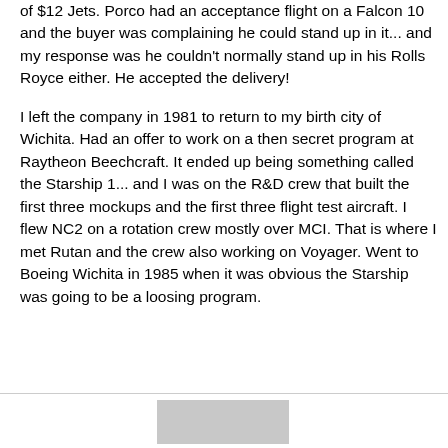of $12 Jets. Porco had an acceptance flight on a Falcon 10 and the buyer was complaining he could stand up in it... and my response was he couldn't normally stand up in his Rolls Royce either.  He accepted the delivery!
I left the company in 1981 to return to my birth city of Wichita.  Had an offer to work on a then secret program at Raytheon Beechcraft. It ended up being something called the Starship 1... and I was on the R&D crew that built the first three mockups and the first three flight test aircraft. I flew NC2 on a rotation crew mostly over MCI.  That is where I met Rutan and the crew also working on Voyager.  Went to Boeing Wichita in 1985 when it was obvious the Starship was going to be a loosing program.
Show quoted text